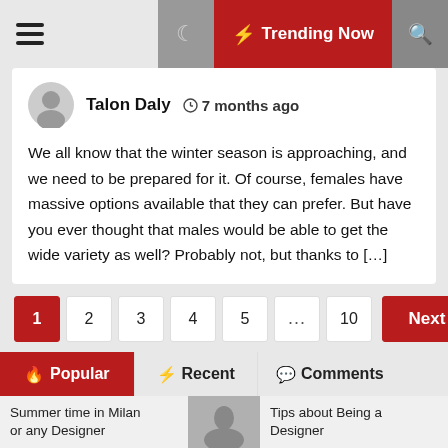☰   🌙  ⚡ Trending Now  🔍
Talon Daly  🕐 7 months ago
We all know that the winter season is approaching, and we need to be prepared for it. Of course, females have massive options available that they can prefer. But have you ever thought that males would be able to get the wide variety as well? Probably not, but thanks to […]
1  2  3  4  5  ...  10  Next
🔥 Popular  ⚡ Recent  💬 Comments
🕐 6 days ago
Latest trend for shapewear
Summer time in Milan or any Designer   Tips about Being a Designer